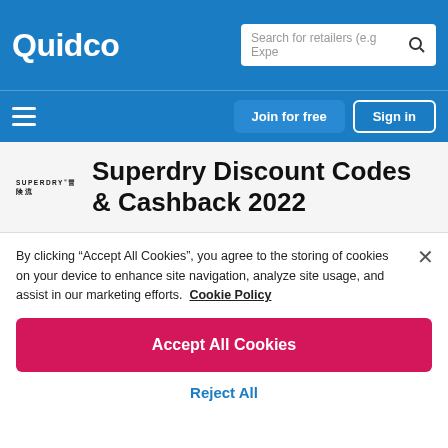Quidco | Search for retailers (e.g Expe
[Figure (screenshot): Quidco website navigation bar with Join for free and Sign in buttons]
Superdry Discount Codes & Cashback 2022
By clicking “Accept All Cookies”, you agree to the storing of cookies on your device to enhance site navigation, analyze site usage, and assist in our marketing efforts.  Cookie Policy
Accept All Cookies
Reject All